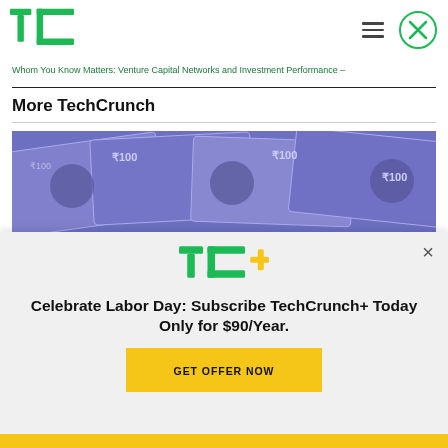TechCrunch logo and navigation bar
Whom You Know Matters: Venture Capital Networks and Investment Performance –
More TechCrunch
[Figure (photo): Indian 100 rupee currency notes spread out, purple/blue tint]
[Figure (infographic): TechCrunch+ subscription modal overlay: TC+ logo, headline 'Celebrate Labor Day: Subscribe TechCrunch+ Today Only for $90/Year.', GET OFFER NOW button in yellow]